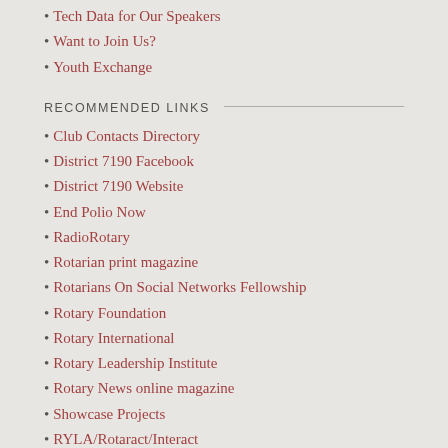Tech Data for Our Speakers
Want to Join Us?
Youth Exchange
RECOMMENDED LINKS
Club Contacts Directory
District 7190 Facebook
District 7190 Website
End Polio Now
RadioRotary
Rotarian print magazine
Rotarians On Social Networks Fellowship
Rotary Foundation
Rotary International
Rotary Leadership Institute
Rotary News online magazine
Showcase Projects
RYLA/Rotaract/Interact